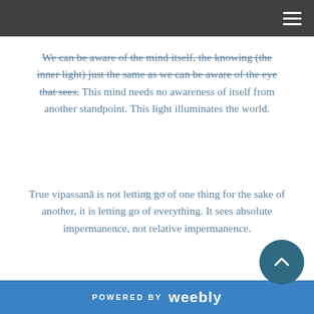We can be aware of the mind itself, the knowing (the inner light) just the same as we can be aware of the eye that sees. This mind needs no awareness of itself from another standpoint. This light illuminates the world.
***
True vipassanā is not letting go of one thing for the sake of another, it is letting go of everything. It sees absolute impermanence, not relative impermanence.
POWERED BY weebly